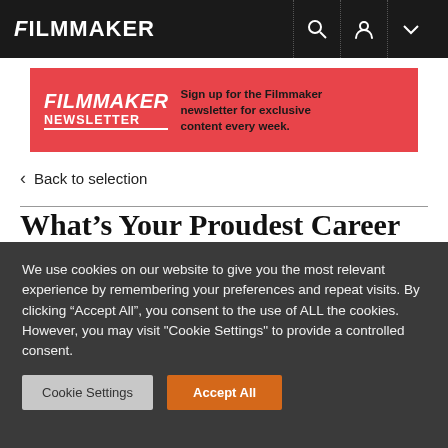FILMMAKER
[Figure (infographic): Filmmaker Newsletter signup banner with red/pink gradient background, bold white FILMMAKER text, NEWSLETTER subtext, and signup call-to-action]
< Back to selection
What’s Your Proudest Career Accomplishment? Jeff Skoll Talks Participant Media at TIFF
We use cookies on our website to give you the most relevant experience by remembering your preferences and repeat visits. By clicking “Accept All”, you consent to the use of ALL the cookies. However, you may visit "Cookie Settings" to provide a controlled consent.
Cookie Settings   Accept All